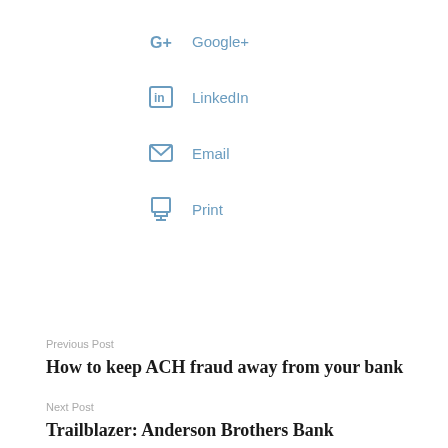Google+
LinkedIn
Email
Print
Previous Post
How to keep ACH fraud away from your bank
Next Post
Trailblazer: Anderson Brothers Bank